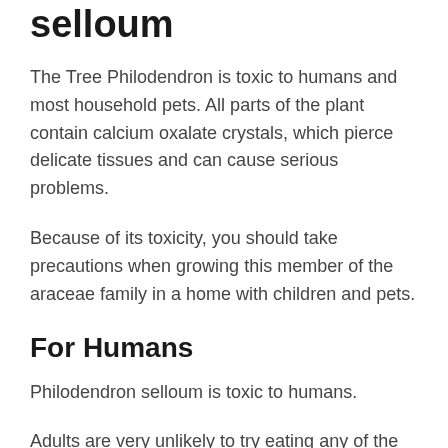selloum
The Tree Philodendron is toxic to humans and most household pets. All parts of the plant contain calcium oxalate crystals, which pierce delicate tissues and can cause serious problems.
Because of its toxicity, you should take precautions when growing this member of the araceae family in a home with children and pets.
For Humans
Philodendron selloum is toxic to humans.
Adults are very unlikely to try eating any of the foliage, but sometimes children may get curious